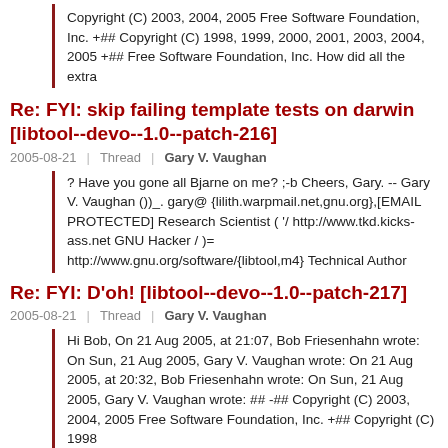Copyright (C) 2003, 2004, 2005 Free Software Foundation, Inc. +## Copyright (C) 1998, 1999, 2000, 2001, 2003, 2004, 2005 +## Free Software Foundation, Inc. How did all the extra
Re: FYI: skip failing template tests on darwin [libtool--devo--1.0--patch-216]
2005-08-21  |  Thread  |  Gary V. Vaughan
? Have you gone all Bjarne on me? ;-b Cheers, Gary. -- Gary V. Vaughan ())_. gary@ {lilith.warpmail.net,gnu.org},[EMAIL PROTECTED] Research Scientist ( '/ http://www.tkd.kicks-ass.net GNU Hacker / )= http://www.gnu.org/software/{libtool,m4} Technical Author
Re: FYI: D'oh! [libtool--devo--1.0--patch-217]
2005-08-21  |  Thread  |  Gary V. Vaughan
Hi Bob, On 21 Aug 2005, at 21:07, Bob Friesenhahn wrote: On Sun, 21 Aug 2005, Gary V. Vaughan wrote: On 21 Aug 2005, at 20:32, Bob Friesenhahn wrote: On Sun, 21 Aug 2005, Gary V. Vaughan wrote: ## -## Copyright (C) 2003, 2004, 2005 Free Software Foundation, Inc. +## Copyright (C) 1998